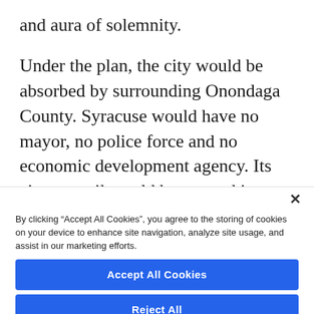and aura of solemnity.
Under the plan, the city would be absorbed by surrounding Onondaga County. Syracuse would have no mayor, no police force and no economic development agency. Its city council would be merged into a 33-member county legislature, only five of whose districts would
By clicking “Accept All Cookies”, you agree to the storing of cookies on your device to enhance site navigation, analyze site usage, and assist in our marketing efforts.
Accept All Cookies
Reject All
Cookies Settings